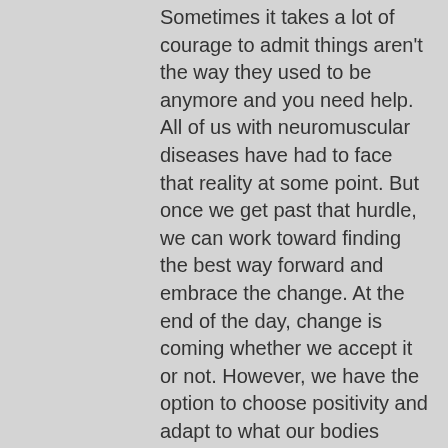Sometimes it takes a lot of courage to admit things aren't the way they used to be anymore and you need help. All of us with neuromuscular diseases have had to face that reality at some point. But once we get past that hurdle, we can work toward finding the best way forward and embrace the change. At the end of the day, change is coming whether we accept it or not. However, we have the option to choose positivity and adapt to what our bodies require of us.
Look out for Part 2 where I explore my power hockey experiences and discover a sporting world I never knew existed!
#CMDVoices • #ShareYourRare • Community